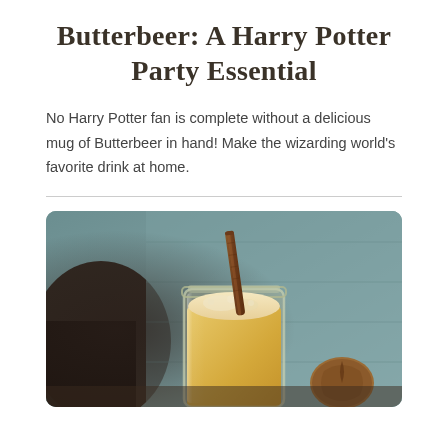Butterbeer: A Harry Potter Party Essential
No Harry Potter fan is complete without a delicious mug of Butterbeer in hand! Make the wizarding world's favorite drink at home.
[Figure (photo): A glass mason jar filled with golden butterbeer topped with foam, a cinnamon stick inside, with nuts and dark fabric in the background on a teal painted surface.]